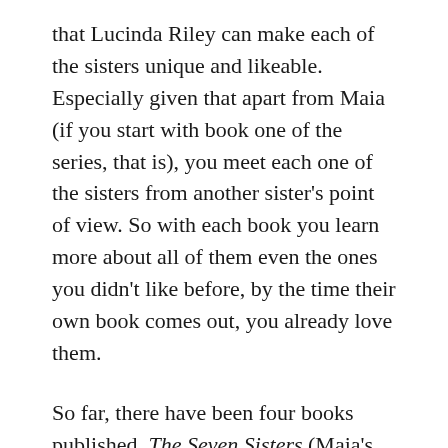that Lucinda Riley can make each of the sisters unique and likeable. Especially given that apart from Maia (if you start with book one of the series, that is), you meet each one of the sisters from another sister's point of view. So with each book you learn more about all of them even the ones you didn't like before, by the time their own book comes out, you already love them.
So far, there have been four books published, The Seven Sisters (Maia's Story), The Storm Sister (Ally's Story), The Shadow Sister (Star's Story) and The Pearl Sister (CeCe's Story). The Moon Sister (Tiggy's Story) will probably come out in November 2018. And in case just reading about the sisters isn't enough for you as it was for me, you can also wear them everyday. Lucinda Riley sells a Seven Sisters charm bracelet in her shop. The bracelet isn't just gorgeous to look at, you also help a charity with